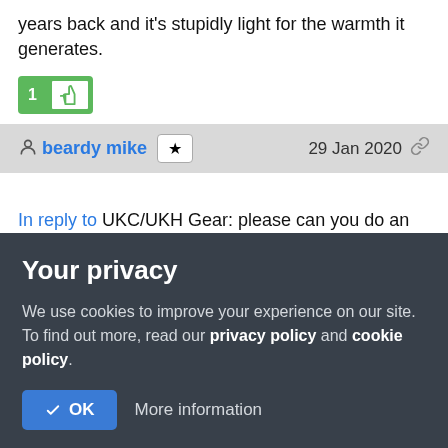years back and it's stupidly light for the warmth it generates.
1 [thumbs up vote button]
beardy mike  ★  29 Jan 2020  🔗
In reply to UKC/UKH Gear: please can you do an article on the top 10 most ridiculous things at the show aswell as just the serious stuff too... It's the only thing I miss about not going this year!
Your privacy
We use cookies to improve your experience on our site. To find out more, read our privacy policy and cookie policy.
✓ OK   More information